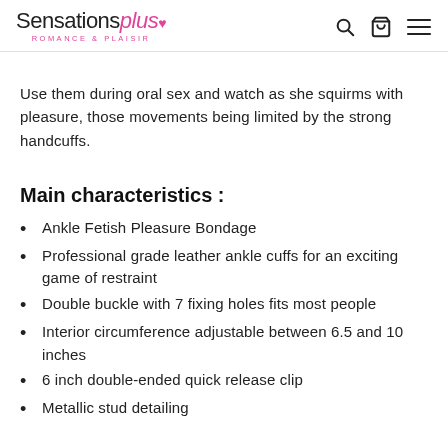Sensationsplus Romance & Plaisir
Use them during oral sex and watch as she squirms with pleasure, those movements being limited by the strong handcuffs.
Main characteristics :
Ankle Fetish Pleasure Bondage
Professional grade leather ankle cuffs for an exciting game of restraint
Double buckle with 7 fixing holes fits most people
Interior circumference adjustable between 6.5 and 10 inches
6 inch double-ended quick release clip
Metallic stud detailing